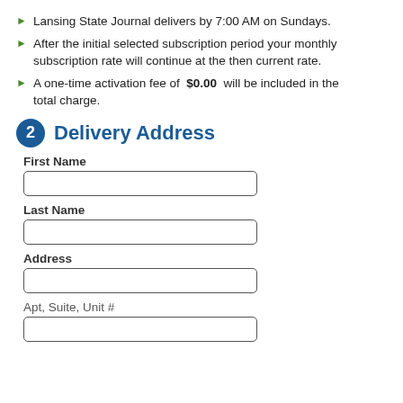Lansing State Journal delivers by 7:00 AM on Sundays.
After the initial selected subscription period your monthly subscription rate will continue at the then current rate.
A one-time activation fee of $0.00 will be included in the total charge.
2 Delivery Address
First Name
Last Name
Address
Apt, Suite, Unit #